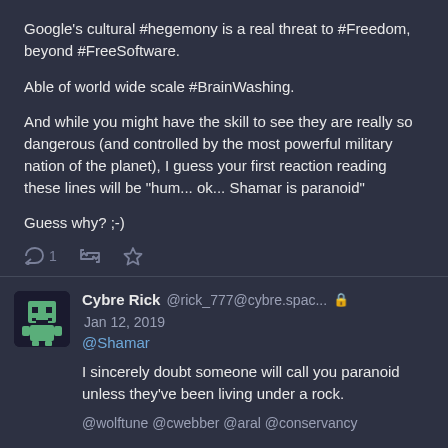Google's cultural #hegemony is a real threat to #Freedom, beyond #FreeSoftware.

Able of world wide scale #BrainWashing.

And while you might have the skill to see they are really so dangerous (and controlled by the most powerful military nation of the planet), I guess your first reaction reading these lines will be "hum... ok... Shamar is paranoid"

Guess why? ;-)
Cybre Rick @rick_777@cybre.spac... Jan 12, 2019
@Shamar
I sincerely doubt someone will call you paranoid unless they've been living under a rock.
@wolftune @cwebber @aral @conservancy